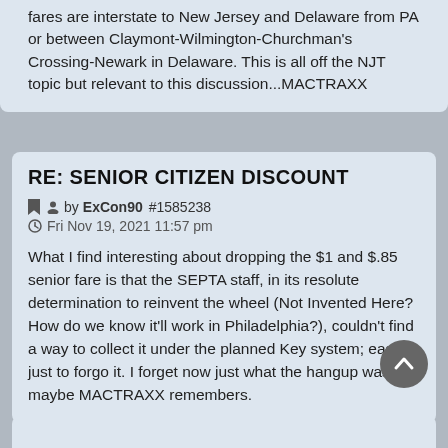fares are interstate to New Jersey and Delaware from PA or between Claymont-Wilmington-Churchman's Crossing-Newark in Delaware. This is all off the NJT topic but relevant to this discussion...MACTRAXX
RE: SENIOR CITIZEN DISCOUNT
#1585238 by ExCon90
Fri Nov 19, 2021 11:57 pm
What I find interesting about dropping the $1 and $.85 senior fare is that the SEPTA staff, in its resolute determination to reinvent the wheel (Not Invented Here? How do we know it'll work in Philadelphia?), couldn't find a way to collect it under the planned Key system; easier just to forgo it. I forget now just what the hangup was -- maybe MACTRAXX remembers.